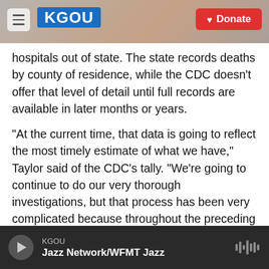KGOU [logo] Donate
hospitals out of state. The state records deaths by county of residence, while the CDC doesn’t offer that level of detail until full records are available in later months or years.
“At the current time, that data is going to reflect the most timely estimate of what we have,” Taylor said of the CDC’s tally. “We’re going to continue to do our very thorough investigations, but that process has been very complicated because throughout the preceding three months, many parts of our healthcare system have been strained. And along with that strain, we’ve seen a decreased
KGOU | Jazz Network/WFMT Jazz